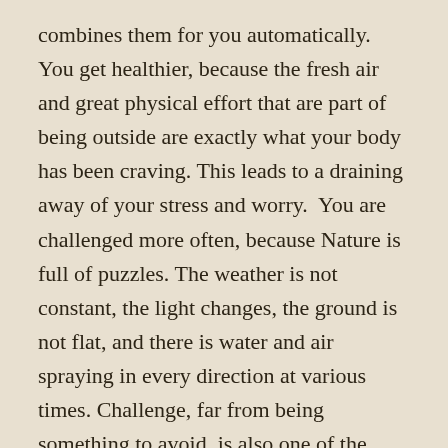combines them for you automatically. You get healthier, because the fresh air and great physical effort that are part of being outside are exactly what your body has been craving. This leads to a draining away of your stress and worry.  You are challenged more often, because Nature is full of puzzles. The weather is not constant, the light changes, the ground is not flat, and there is water and air spraying in every direction at various times. Challenge, far from being something to avoid, is also one of the biggest sources of happiness. All of this makes you stronger and more productive and feeds back into the start of the cycle as you step outside at the start of the next day.
You gain a deeper appreciation and understanding life itself, as you realize that every living thing on the Earth is actually very closely related. And even just watching and soaking up the shapes and patterns and texture of Nature is calming in a way that indoor activities cannot seem to